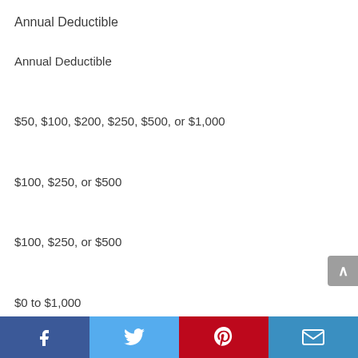Annual Deductible
Annual Deductible
$50, $100, $200, $250, $500, or $1,000
$100, $250, or $500
$100, $250, or $500
$0 to $1,000
$100, $250, $500, or $750
Facebook | Twitter | Pinterest | Email